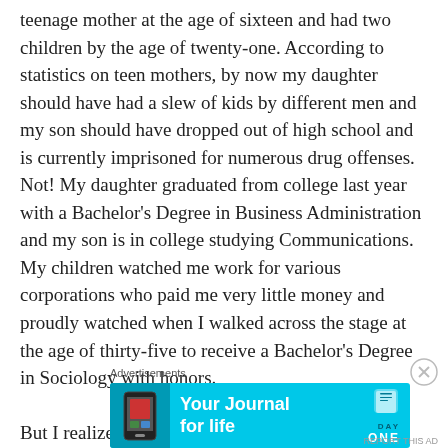teenage mother at the age of sixteen and had two children by the age of twenty-one. According to statistics on teen mothers, by now my daughter should have had a slew of kids by different men and my son should have dropped out of high school and is currently imprisoned for numerous drug offenses. Not! My daughter graduated from college last year with a Bachelor's Degree in Business Administration and my son is in college studying Communications. My children watched me work for various corporations who paid me very little money and proudly watched when I walked across the stage at the age of thirty-five to receive a Bachelor's Degree in Sociology with honors.

But I realize that you probably do not know too many
Advertisements
[Figure (other): Advertisement banner for Day One app — 'Your Journal for life' on a cyan/light-blue background with a phone graphic on the left and the Day One logo on the right.]